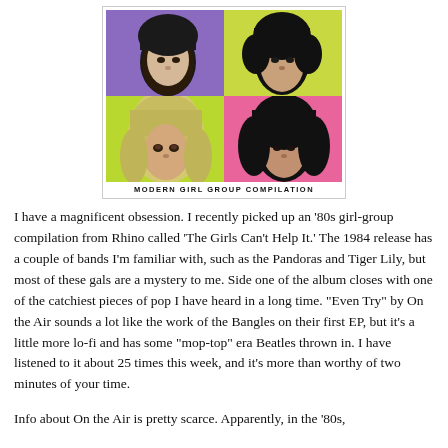[Figure (illustration): Album cover for 'Modern Girl Group Compilation' showing four panels in a Warhol-style pop art grid: top-left purple panel with a woman's face, top-right yellow-green panel with a woman's face, bottom-left lime/yellow panel with a blonde woman's face, bottom-right pink panel with a dark-haired woman's face. Text at bottom reads MODERN GIRL GROUP COMPILATION.]
I have a magnificent obsession. I recently picked up an '80s girl-group compilation from Rhino called 'The Girls Can't Help It.' The 1984 release has a couple of bands I'm familiar with, such as the Pandoras and Tiger Lily, but most of these gals are a mystery to me. Side one of the album closes with one of the catchiest pieces of pop I have heard in a long time. "Even Try" by On the Air sounds a lot like the work of the Bangles on their first EP, but it's a little more lo-fi and has some "mop-top" era Beatles thrown in. I have listened to it about 25 times this week, and it's more than worthy of two minutes of your time.
Info about On the Air is pretty scarce. Apparently, in the '80s, the...